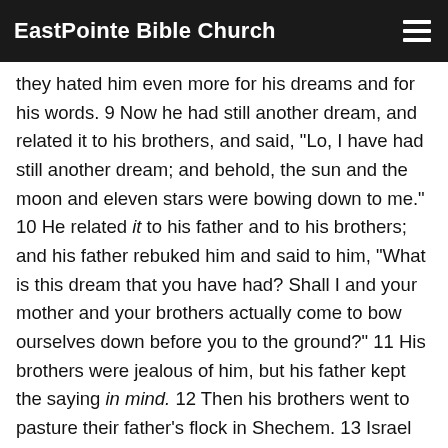EastPointe Bible Church
they hated him even more for his dreams and for his words. 9 Now he had still another dream, and related it to his brothers, and said, “Lo, I have had still another dream; and behold, the sun and the moon and eleven stars were bowing down to me.” 10 He related it to his father and to his brothers; and his father rebuked him and said to him, “What is this dream that you have had? Shall I and your mother and your brothers actually come to bow ourselves down before you to the ground?” 11 His brothers were jealous of him, but his father kept the saying in mind. 12 Then his brothers went to pasture their father’s flock in Shechem. 13 Israel said to Joseph, “Are not your brothers pasturing the flock in Shechem? Come, and I will send you to them.” And he said to him, “I will go.” 14 Then he said to him, “Go now and see about the welfare of your brothers and the welfare of the flock, and bring word back to me.” So he sent him